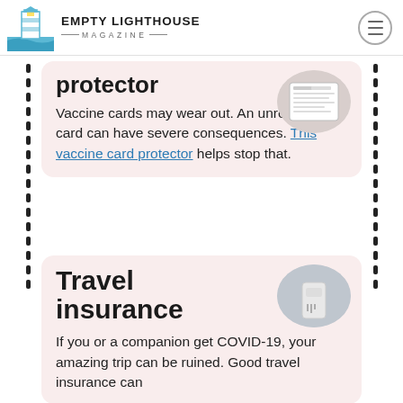EMPTY LIGHTHOUSE MAGAZINE
protector
[Figure (photo): Image of a vaccine card document/form]
Vaccine cards may wear out. An unreadable card can have severe consequences. This vaccine card protector helps stop that.
Travel insurance
[Figure (photo): Close-up photo of a COVID-19 rapid test]
If you or a companion get COVID-19, your amazing trip can be ruined. Good travel insurance can